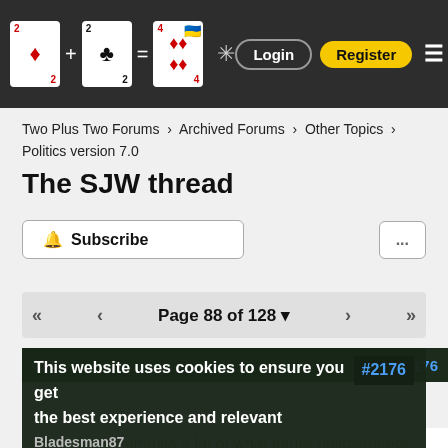Two Plus Two Forums site header with logo, Login and Register buttons
Two Plus Two Forums > Archived Forums > Other Topics > Politics version 7.0
The SJW thread
Subscribe ... Page 88 of 128
This website uses cookies to ensure you get the best experience and relevant advertisements while visiting. Learn more Got it! #2176
The memo commits a lot of what future philosophers will call "Appeal to Chezness", in which the writer claims cutting out certain terms and using a whole bunch of the equivalent of "I'm not X but..." qualifiers somehow makes it a passing standard, and a shocked affectation can be taken when